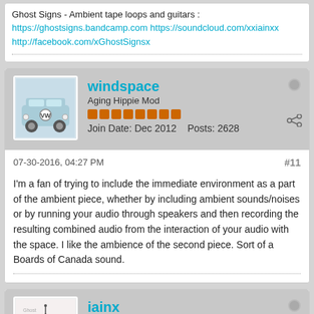Ghost Signs - Ambient tape loops and guitars :
https://ghostsigns.bandcamp.com https://soundcloud.com/xxiainxx http://facebook.com/xGhostSignsx
windspace
Aging Hippie Mod
Join Date: Dec 2012  Posts: 2628
07-30-2016, 04:27 PM  #11
I'm a fan of trying to include the immediate environment as a part of the ambient piece, whether by including ambient sounds/noises or by running your audio through speakers and then recording the resulting combined audio from the interaction of your audio with the space. I like the ambience of the second piece. Sort of a Boards of Canada sound.
iainx
Dream Walker
Dream Walker
Join Date: Sep 2015  Posts: 167